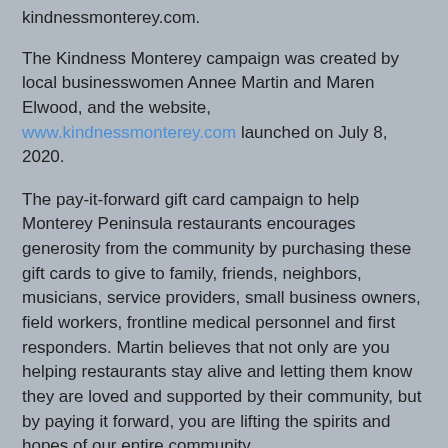kindnessmonterey.com.
The Kindness Monterey campaign was created by local businesswomen Annee Martin and Maren Elwood, and the website, www.kindnessmonterey.com launched on July 8, 2020.
The pay-it-forward gift card campaign to help Monterey Peninsula restaurants encourages generosity from the community by purchasing these gift cards to give to family, friends, neighbors, musicians, service providers, small business owners, field workers, frontline medical personnel and first responders. Martin believes that not only are you helping restaurants stay alive and letting them know they are loved and supported by their community, but by paying it forward, you are lifting the spirits and hopes of our entire community.
Contact: Marci Bracco Cain
Chatterbox PR
Salinas, CA 93901